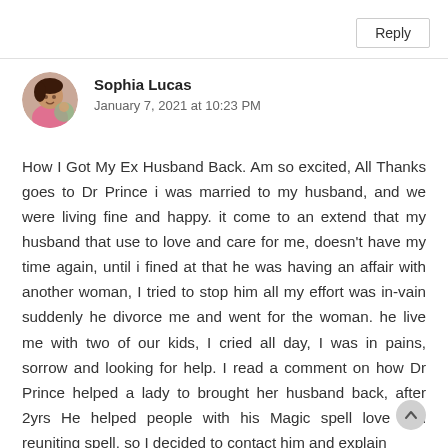Reply
[Figure (photo): Circular profile photo of Sophia Lucas showing a woman in a pink top]
Sophia Lucas
January 7, 2021 at 10:23 PM
How I Got My Ex Husband Back. Am so excited, All Thanks goes to Dr Prince i was married to my husband, and we were living fine and happy. it come to an extend that my husband that use to love and care for me, doesn't have my time again, until i fined at that he was having an affair with another woman, I tried to stop him all my effort was in-vain suddenly he divorce me and went for the woman. he live me with two of our kids, I cried all day, I was in pains, sorrow and looking for help. I read a comment on how Dr Prince helped a lady to brought her husband back, after 2yrs He helped people with his Magic spell love and reuniting spell. so I decided to contact him and explain